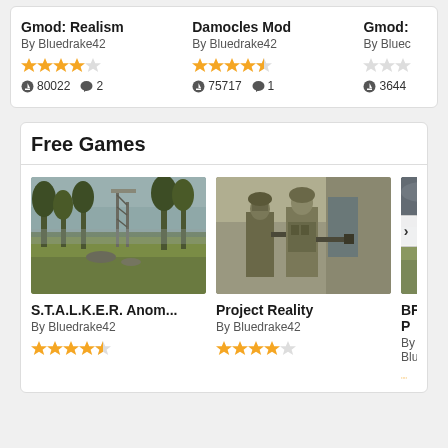Gmod: Realism
By Bluedrake42
[Figure (other): 4 orange stars and 1 gray star rating]
80022 downloads, 2 comments
Damocles Mod
By Bluedrake42
[Figure (other): 4.5 orange stars rating]
75717 downloads, 1 comment
Gmod:
By Bluec
[Figure (other): 2 gray stars rating (partial view)]
3644
Free Games
[Figure (photo): S.T.A.L.K.E.R. Anomaly game screenshot showing post-apocalyptic landscape with industrial structure and trees]
[Figure (photo): Project Reality game screenshot showing two soldiers in camouflage with weapons near a concrete wall]
[Figure (photo): BFHD P game screenshot (partially visible) showing overcast sky and landscape]
S.T.A.L.K.E.R. Anom...
By Bluedrake42
[Figure (other): 4.5 orange stars rating]
Project Reality
By Bluedrake42
[Figure (other): 4 orange stars and 1 gray star rating]
BFHD P
By Bluec
[Figure (other): 4.5 stars rating (partial view)]